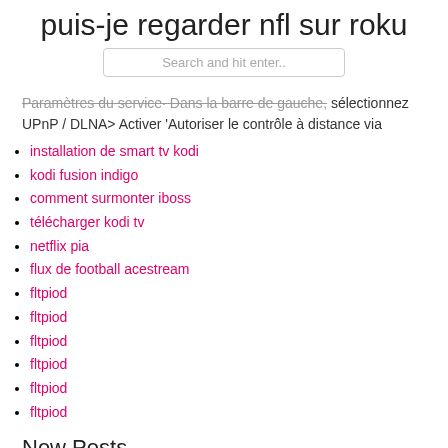puis-je regarder nfl sur roku
Search and hit enter..
Paramètres du service· Dans la barre de gauche, sélectionnez UPnP / DLNA> Activer 'Autoriser le contrôle à distance via
installation de smart tv kodi
kodi fusion indigo
comment surmonter iboss
télécharger kodi tv
netflix pia
flux de football acestream
fltpiod
fltpiod
fltpiod
fltpiod
fltpiod
fltpiod
New Posts